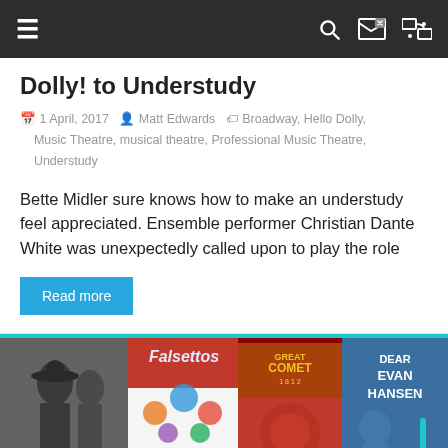≡  🔍  ⇄
Dolly! to Understudy
1 April, 2017  Matt Edwards  Broadway, Hello Dolly, Music Theatre, musical theatre, Professional Music Theatre, Understudy
Bette Midler sure knows how to make an understudy feel appreciated. Ensemble performer Christian Dante White was unexpectedly called upon to play the role
Read more
[Figure (photo): Broadway Playbill covers including Falsettos, The Great Comet, and Dear Evan Hansen displayed on a wooden surface]